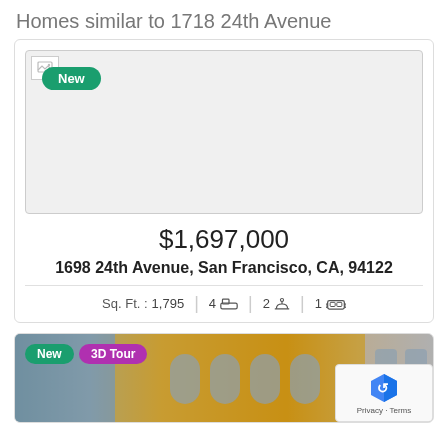Homes similar to 1718 24th Avenue
[Figure (photo): Placeholder image (broken/loading) for a home listing with a green 'New' badge in the top left corner]
$1,697,000
1698 24th Avenue, San Francisco, CA, 94122
Sq. Ft. : 1,795  |  4 beds  |  2 baths  |  1 garage
[Figure (photo): Exterior photo of a yellow/tan Mediterranean-style building with arched windows, with 'New' and '3D Tour' badges. reCAPTCHA Privacy/Terms overlay in bottom right.]